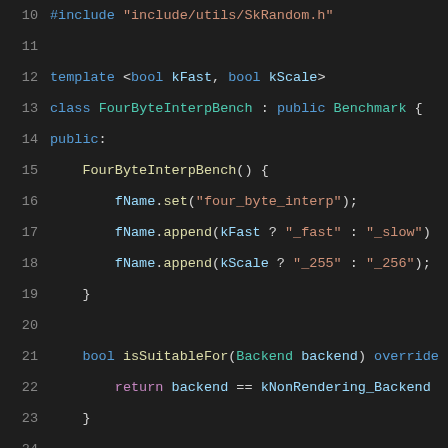[Figure (screenshot): Source code screenshot showing C++ class FourByteInterpBench with syntax highlighting on dark background, lines 10-31]